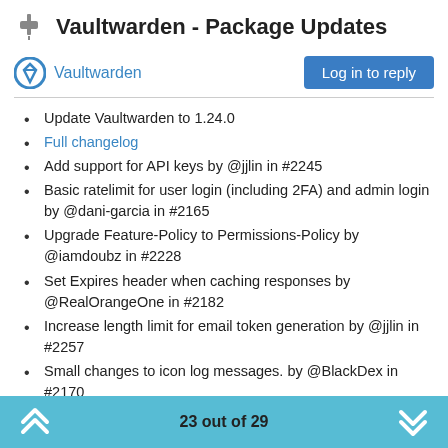📌 Vaultwarden - Package Updates
Vaultwarden
Update Vaultwarden to 1.24.0
Full changelog
Add support for API keys by @jjlin in #2245
Basic ratelimit for user login (including 2FA) and admin login by @dani-garcia in #2165
Upgrade Feature-Policy to Permissions-Policy by @iamdoubz in #2228
Set Expires header when caching responses by @RealOrangeOne in #2182
Increase length limit for email token generation by @jjlin in #2257
Small changes to icon log messages. by @BlackDex in #2170
Bump rust version to mitigate CVE-2022-21658 by @dscottboggs in #2255
Fixed #2151 by @BlackDex in #2169
23 out of 29